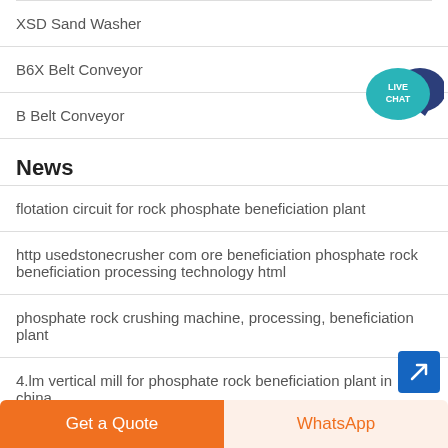XSD Sand Washer
B6X Belt Conveyor
B Belt Conveyor
News
flotation circuit for rock phosphate beneficiation plant
http usedstonecrusher com ore beneficiation phosphate rock beneficiation processing technology html
phosphate rock crushing machine, processing, beneficiation plant
4.lm vertical mill for phosphate rock beneficiation plant in china
mining separation equipment for rock concentrate tin proce…
[Figure (logo): Live Chat speech bubble badge in teal/navy blue with text LIVE CHAT]
[Figure (other): Blue square scroll/navigate button with arrow icon]
Get a Quote
WhatsApp